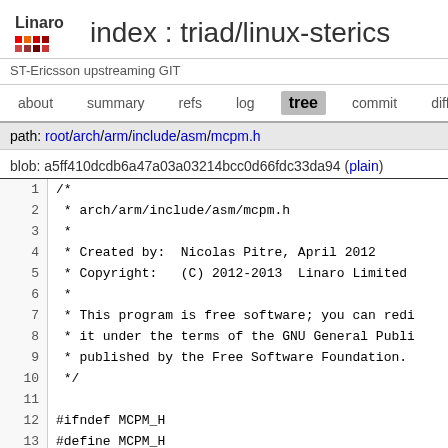index : triad/linux-sterics
ST-Ericsson upstreaming GIT
about  summary  refs  log  tree  commit  diff
path: root/arch/arm/include/asm/mcpm.h
blob: a5ff410dcdb6a47a03a03214bcc0d66fdc33da94 (plain)
1  /*
2   * arch/arm/include/asm/mcpm.h
3   *
4   * Created by:  Nicolas Pitre, April 2012
5   * Copyright:   (C) 2012-2013  Linaro Limited
6   *
7   * This program is free software; you can redi
8   * it under the terms of the GNU General Publi
9   * published by the Free Software Foundation.
10  */
11
12 #ifndef MCPM_H
13 #define MCPM_H
14
15 /*
16  * Maximum number of possible clusters / CPUs
17  *